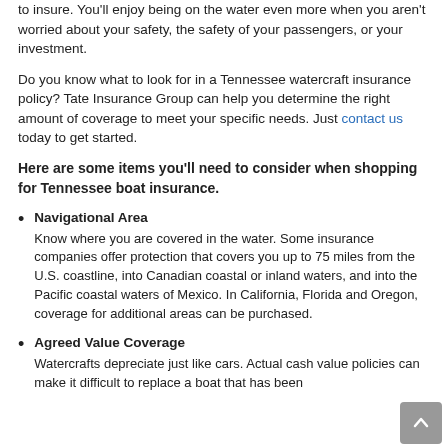to insure. You'll enjoy being on the water even more when you aren't worried about your safety, the safety of your passengers, or your investment.
Do you know what to look for in a Tennessee watercraft insurance policy? Tate Insurance Group can help you determine the right amount of coverage to meet your specific needs. Just contact us today to get started.
Here are some items you'll need to consider when shopping for Tennessee boat insurance.
Navigational Area
Know where you are covered in the water. Some insurance companies offer protection that covers you up to 75 miles from the U.S. coastline, into Canadian coastal or inland waters, and into the Pacific coastal waters of Mexico. In California, Florida and Oregon, coverage for additional areas can be purchased.
Agreed Value Coverage
Watercrafts depreciate just like cars. Actual cash value policies can make it difficult to replace a boat that has been